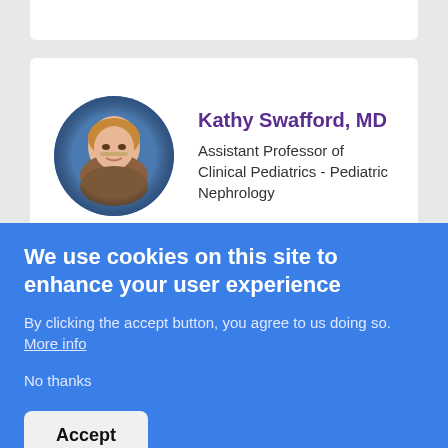[Figure (photo): Circular profile photo of Kathy Swafford, MD]
Kathy Swafford, MD
Assistant Professor of Clinical Pediatrics - Pediatric Nephrology
[Figure (photo): Circular profile photo of Taylor Vazquez, MLIS]
Taylor Vazquez, MLIS
Assistant Research Professor
We use cookies on this site to enhance your user experience
By clicking the accept button, you agree to us doing so. More info
No thanks
Accept